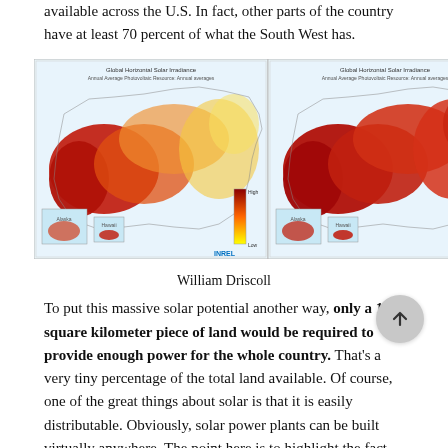available across the U.S. In fact, other parts of the country have at least 70 percent of what the South West has.
[Figure (map): Two side-by-side maps of the United States showing Global Horizontal Solar Irradiance. The left map shows a gradient from dark red/orange in the southwest to yellow in the northeast. The right map shows a similar distribution but more uniformly red across the country. Both maps include insets for Alaska and Hawaii, a color scale legend, and INREL branding.]
William Driscoll
To put this massive solar potential another way, only a 160 square kilometer piece of land would be required to provide enough power for the whole country. That's a very tiny percentage of the total land available. Of course, one of the great things about solar is that it is easily distributable. Obviously, solar power plants can be built virtually anywhere. The point here is to highlight the fact that space is not an issue as we transition to a solar plus battery storage energy infrastructure.
From a practical perspective, homeowners in the more northern states would require an extra solar panel or two to match the amount of energy captured in the southern states. Is this significantly more expensive? Not at all, this would add